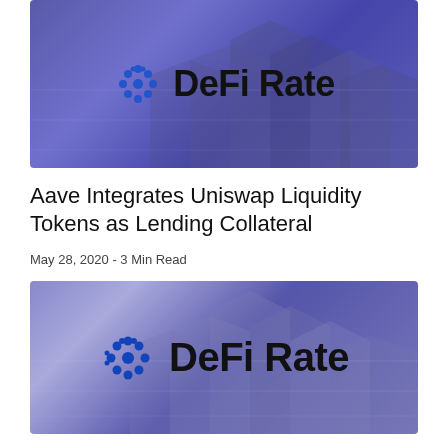[Figure (logo): DeFi Rate logo banner with blue/purple gradient background showing city buildings, with circular dot-pattern icon and 'DeFi Rate' text in black]
Aave Integrates Uniswap Liquidity Tokens as Lending Collateral
May 28, 2020 - 3 Min Read
[Figure (logo): DeFi Rate logo banner with lighter blue/purple gradient background showing city buildings, with blue circular dot-pattern icon and 'DeFi Rate' text in black, larger rendering]